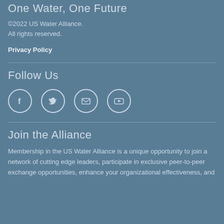One Water, One Future
©2022 US Water Alliance.
All rights reserved.
Privacy Policy
Follow Us
[Figure (illustration): Social media icons in circles: Facebook, Twitter, Email, YouTube]
Join the Alliance
Membership in the US Water Alliance is a unique opportunity to join a network of cutting edge leaders, participate in exclusive peer-to-peer exchange opportunities, enhance your organizational effectiveness, and